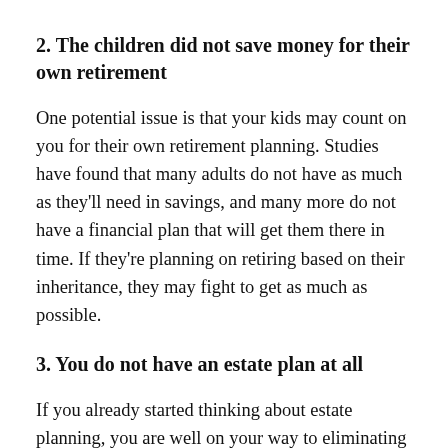2. The children did not save money for their own retirement
One potential issue is that your kids may count on you for their own retirement planning. Studies have found that many adults do not have as much as they'll need in savings, and many more do not have a financial plan that will get them there in time. If they're planning on retiring based on their inheritance, they may fight to get as much as possible.
3. You do not have an estate plan at all
If you already started thinking about estate planning, you are well on your way to eliminating one of the major red flags. When children have no estate plan to